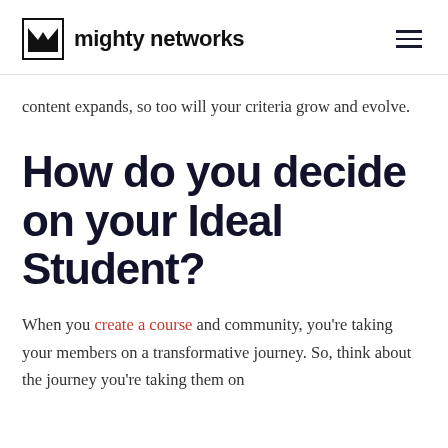mighty networks
content expands, so too will your criteria grow and evolve.
How do you decide on your Ideal Student?
When you create a course and community, you're taking your members on a transformative journey. So, think about the journey you're taking them on